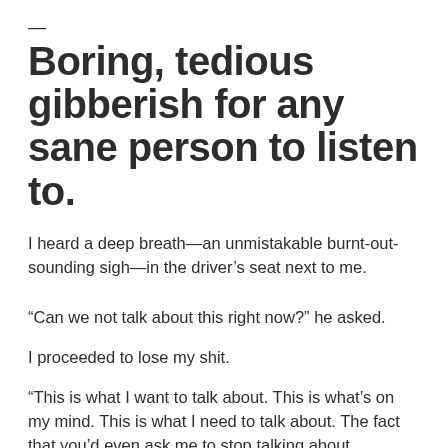—
Boring, tedious gibberish for any sane person to listen to.
I heard a deep breath—an unmistakable burnt-out-sounding sigh—in the driver's seat next to me.
“Can we not talk about this right now?” he asked.
I proceeded to lose my shit.
“This is what I want to talk about. This is what’s on my mind. This is what I need to talk about. The fact that you’d even ask me to stop talking about Regionals makes me angry. Turn the car around and take me to my car, please. I’ll go for breakfast